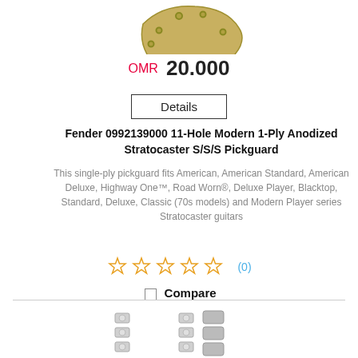[Figure (photo): Partial view of a pickguard (gold/anodized) at the top of the page, cropped]
OMR 20.000
Details
Fender 0992139000 11-Hole Modern 1-Ply Anodized Stratocaster S/S/S Pickguard
This single-ply pickguard fits American, American Standard, American Deluxe, Highway One™, Road Worn®, Deluxe Player, Blacktop, Standard, Deluxe, Classic (70s models) and Modern Player series Stratocaster guitars
☆ ☆ ☆ ☆ ☆ (0)
Compare
[Figure (photo): Partial view of guitar tuning machine heads (silver/nickel) at the bottom of the page]